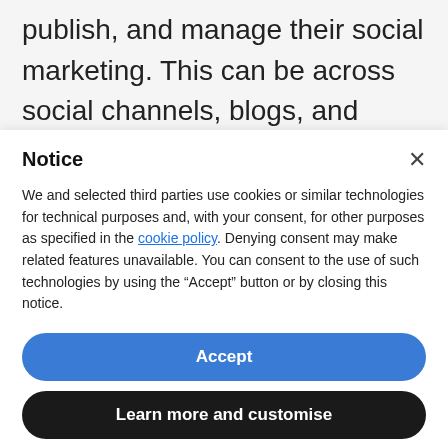publish, and manage their social marketing. This can be across social channels, blogs, and advertising platforms. Based in London, the company has built a customer base, from
Notice
We and selected third parties use cookies or similar technologies for technical purposes and, with your consent, for other purposes as specified in the cookie policy. Denying consent may make related features unavailable. You can consent to the use of such technologies by using the “Accept” button or by closing this notice.
Accept
Learn more and customise